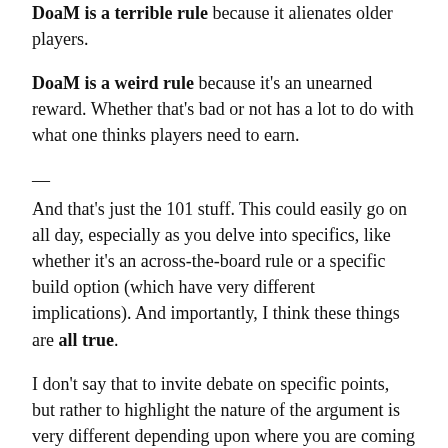DoaM is a terrible rule because it alienates older players.
DoaM is a weird rule because it's an unearned reward. Whether that's bad or not has a lot to do with what one thinks players need to earn.
—
And that's just the 101 stuff. This could easily go on all day, especially as you delve into specifics, like whether it's an across-the-board rule or a specific build option (which have very different implications). And importantly, I think these things are all true.
I don't say that to invite debate on specific points, but rather to highlight the nature of the argument is very different depending upon where you are coming from, and it boils down to this – If you cannot see the way a rule could work, then I am intensely suspicious of your opinion that it does not (and vice versa).